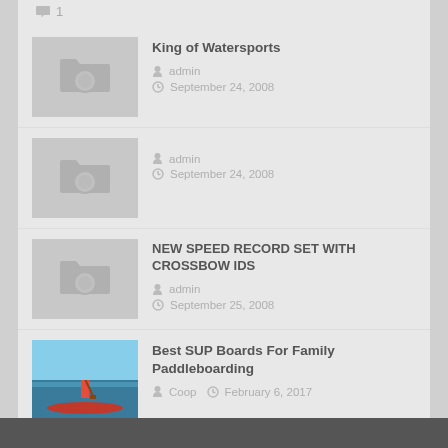1
King of Watersports
admin  September 24, 2008
admin  September 24, 2008
NEW SPEED RECORD SET WITH CROSSBOW IDS
admin  September 25, 2008
Best SUP Boards For Family Paddleboarding
Coop  February 6, 2017